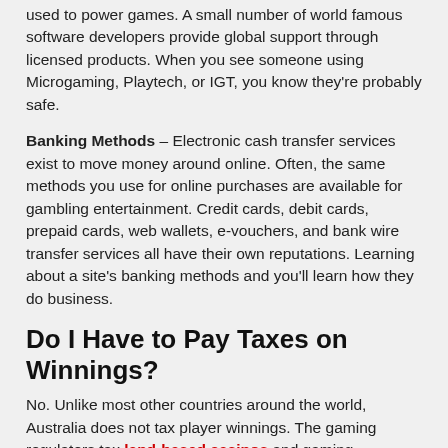used to power games. A small number of world famous software developers provide global support through licensed products. When you see someone using Microgaming, Playtech, or IGT, you know they're probably safe.
Banking Methods – Electronic cash transfer services exist to move money around online. Often, the same methods you use for online purchases are available for gambling entertainment. Credit cards, debit cards, prepaid cards, web wallets, e-vouchers, and bank wire transfer services all have their own reputations. Learning about a site's banking methods and you'll learn how they do business.
Do I Have to Pay Taxes on Winnings?
No. Unlike most other countries around the world, Australia does not tax player winnings. The gaming regulators tax land-based casinos and gaming companies for their revenues when you (and others) lose.
Is It Legal to Make Cash Deposits to